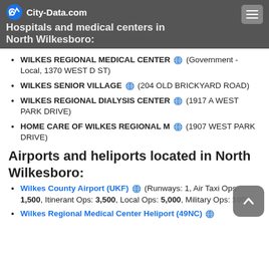Hospitals and medical centers in North Wilkesboro:
WILKES REGIONAL MEDICAL CENTER (Government - Local, 1370 WEST D ST)
WILKES SENIOR VILLAGE (204 OLD BRICKYARD ROAD)
WILKES REGIONAL DIALYSIS CENTER (1917 A WEST PARK DRIVE)
HOME CARE OF WILKES REGIONAL M (1907 WEST PARK DRIVE)
Airports and heliports located in North Wilkesboro:
Wilkes County Airport (UKF) (Runways: 1, Air Taxi Ops: 1,500, Itinerant Ops: 3,500, Local Ops: 5,000, Military Ops: 100)
Wilkes Regional Medical Center Heliport (49NC)